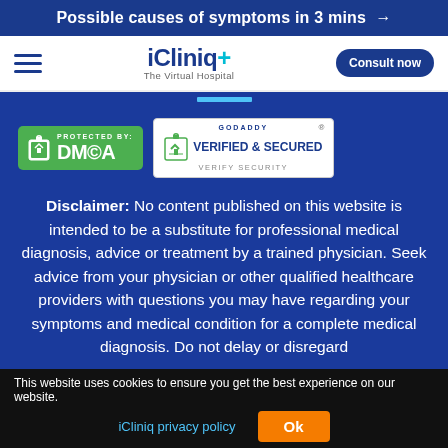Possible causes of symptoms in 3 mins →
[Figure (logo): iCliniq+ The Virtual Hospital logo with hamburger menu and Consult now button]
[Figure (logo): DMCA Protected By badge (green) and GoDaddy Verified & Secured badge (white)]
Disclaimer: No content published on this website is intended to be a substitute for professional medical diagnosis, advice or treatment by a trained physician. Seek advice from your physician or other qualified healthcare providers with questions you may have regarding your symptoms and medical condition for a complete medical diagnosis. Do not delay or disregard
This website uses cookies to ensure you get the best experience on our website. iCliniq privacy policy  Ok